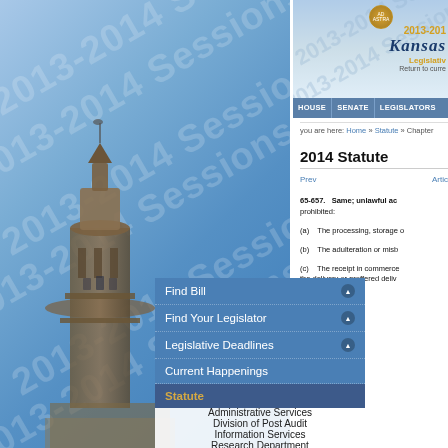[Figure (screenshot): Kansas Legislative website screenshot showing capitol building background, navigation menu, and statute content for 2014 Statute 65-657]
2013-2014 Legislative Sessions — Kansas Legislature
you are here: Home » Statute » Chapter
2014 Statute
Prev    Artic
Find Bill
Find Your Legislator
Legislative Deadlines
Current Happenings
Statute
Legislative Resources
Administrative Services
Division of Post Audit
Information Services
Research Department
65-657. Same; unlawful ac prohibited:
(a) The processing, storage o
(b) The adulteration or misb
(c) The receipt in commerce the delivery or proffered deliv